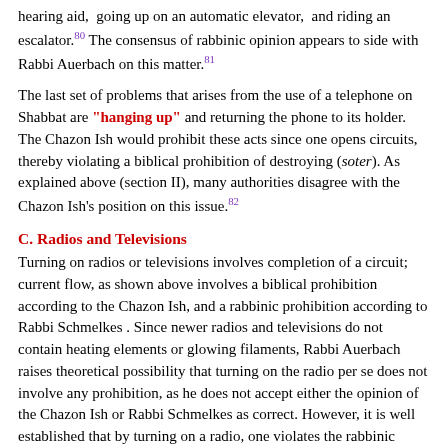hearing aid, going up on an automatic elevator, and riding an escalator.80 The consensus of rabbinic opinion appears to side with Rabbi Auerbach on this matter.81
The last set of problems that arises from the use of a telephone on Shabbat are "hanging up" and returning the phone to its holder. The Chazon Ish would prohibit these acts since one opens circuits, thereby violating a biblical prohibition of destroying (soter). As explained above (section II), many authorities disagree with the Chazon Ish's position on this issue.82
C. Radios and Televisions
Turning on radios or televisions involves completion of a circuit; current flow, as shown above involves a biblical prohibition according to the Chazon Ish, and a rabbinic prohibition according to Rabbi Schmelkes . Since newer radios and televisions do not contain heating elements or glowing filaments, Rabbi Auerbach raises theoretical possibility that turning on the radio per se does not involve any prohibition, as he does not accept either the opinion of the Chazon Ish or Rabbi Schmelkes as correct. However, it is well established that by turning on a radio, one violates the rabbinic prohibition of "causing a noise to be heard with an instrument designed for this purpose" (hashma'at kol al yedei keli hameyuchad lekach). Thus, even Rabbi Auerbach rules that a rabbinic prohibition is present when one turns on a radio.